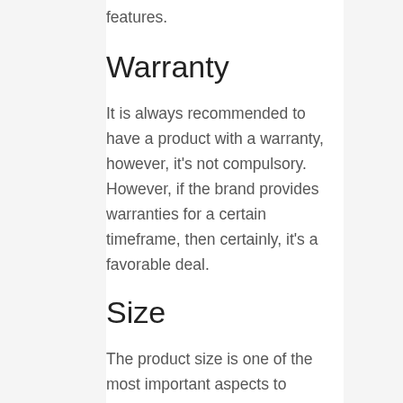features.
Warranty
It is always recommended to have a product with a warranty, however, it’s not compulsory. However, if the brand provides warranties for a certain timeframe, then certainly, it’s a favorable deal.
Size
The product size is one of the most important aspects to consider before purchasing a Attorney For Car Accidenin In S Fl. You need to know what kind of product you want to buy